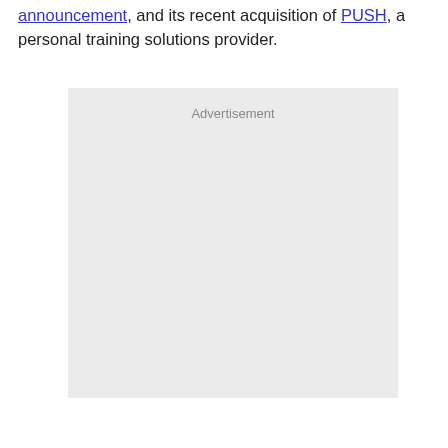announcement, and its recent acquisition of PUSH, a personal training solutions provider.
[Figure (other): Advertisement placeholder box with light gray background and 'Advertisement' label at top center.]